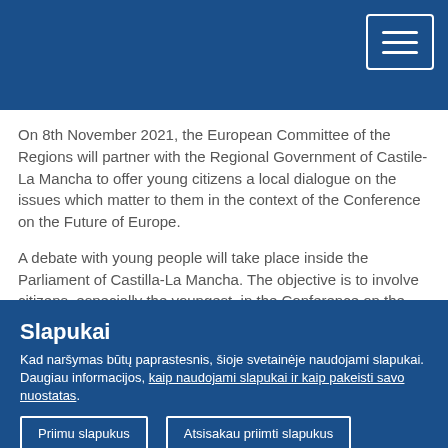On 8th November 2021, the European Committee of the Regions will partner with the Regional Government of Castile-La Mancha to offer young citizens a local dialogue on the issues which matter to them in the context of the Conference on the Future of Europe.
A debate with young people will take place inside the Parliament of Castilla-La Mancha. The objective is to involve citizens, especially the youngest, in the Conference on the Future of Europe (CoFE). The topics, from among those proposed in the CoFE, will be chosen through a prior consultation period using the Regional Participation Portal
Slapukai
Kad naršymas būtų paprastesnis, šioje svetainėje naudojami slapukai. Daugiau informacijos, kaip naudojami slapukai ir kaip pakeisti savo nuostatas.
Priimu slapukus
Atsisakau priimti slapukus